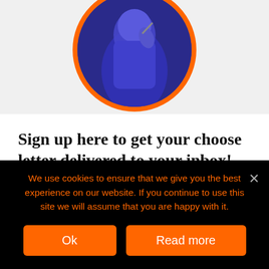[Figure (photo): Circular cropped photo of a person speaking at a microphone, wearing a blue outfit, with an orange circular border.]
Sign up here to get your choose letter delivered to your inbox!
Twice per month you will receive a short thought provoking idea about choices. No one needs more newsletters but what about a “Chooseletter” to remind you life is all about
We use cookies to ensure that we give you the best experience on our website. If you continue to use this site we will assume that you are happy with it.
Ok
Read more